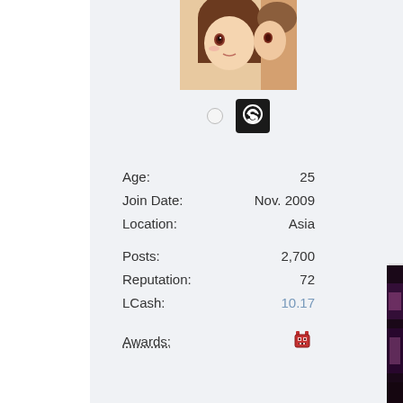[Figure (illustration): Anime-style avatar portrait, brown-haired female character]
[Figure (logo): Steam gaming platform logo icon (black square with Steam logo) and a small circle icon]
Age: 25
Join Date: Nov. 2009
Location: Asia
Posts: 2,700
Reputation: 72
LCash: 10.17
Awards:
[Figure (illustration): Pixel art devil/oni emoji award icon]
[Figure (illustration): Partial anime illustration visible at bottom right, dark background with pink-haired character]